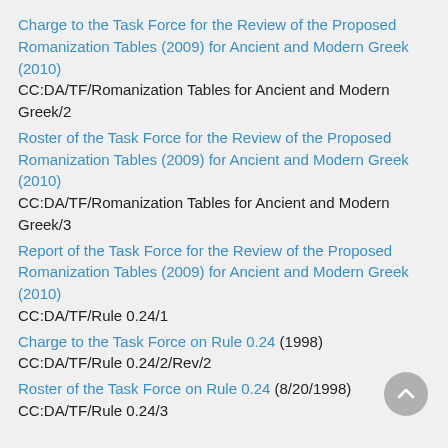Charge to the Task Force for the Review of the Proposed Romanization Tables (2009) for Ancient and Modern Greek (2010)
CC:DA/TF/Romanization Tables for Ancient and Modern Greek/2
Roster of the Task Force for the Review of the Proposed Romanization Tables (2009) for Ancient and Modern Greek (2010)
CC:DA/TF/Romanization Tables for Ancient and Modern Greek/3
Report of the Task Force for the Review of the Proposed Romanization Tables (2009) for Ancient and Modern Greek (2010)
CC:DA/TF/Rule 0.24/1
Charge to the Task Force on Rule 0.24 (1998)
CC:DA/TF/Rule 0.24/2/Rev/2
Roster of the Task Force on Rule 0.24 (8/20/1998)
CC:DA/TF/Rule 0.24/3